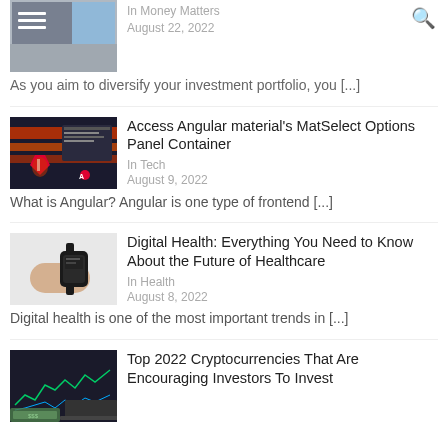[Figure (photo): Partial thumbnail of a laptop/investment image at top left]
In Money Matters
August 22, 2022
As you aim to diversify your investment portfolio, you [...]
[Figure (photo): Angular developer illustration with red/orange background and Angular logo]
Access Angular material's MatSelect Options Panel Container
In Tech
August 9, 2022
What is Angular? Angular is one type of frontend [...]
[Figure (photo): Person wearing a smartwatch on white background]
Digital Health: Everything You Need to Know About the Future of Healthcare
In Health
August 8, 2022
Digital health is one of the most important trends in [...]
[Figure (photo): Cryptocurrency trading charts with cash on laptop]
Top 2022 Cryptocurrencies That Are Encouraging Investors To Invest